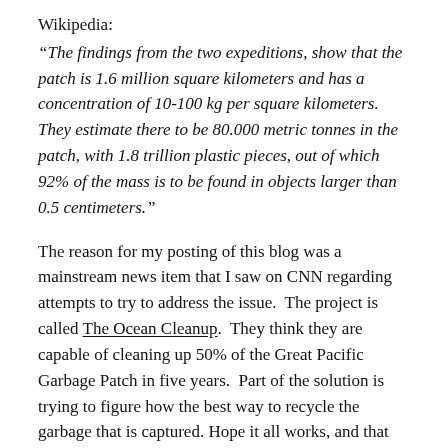Wikipedia:
“The findings from the two expeditions, show that the patch is 1.6 million square kilometers and has a concentration of 10-100 kg per square kilometers. They estimate there to be 80.000 metric tonnes in the patch, with 1.8 trillion plastic pieces, out of which 92% of the mass is to be found in objects larger than 0.5 centimeters.”
The reason for my posting of this blog was a mainstream news item that I saw on CNN regarding attempts to try to address the issue.  The project is called The Ocean Cleanup.  They think they are capable of cleaning up 50% of the Great Pacific Garbage Patch in five years.  Part of the solution is trying to figure how the best way to recycle the garbage that is captured. Hope it all works, and that we can clean up the mess that we have all made!